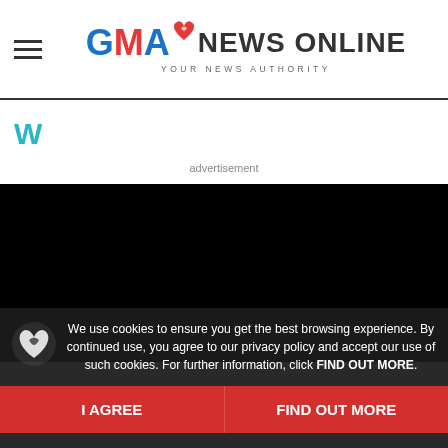GMA NEWS ONLINE — YOUR NEWS AUTHORITY
[Figure (logo): WeatherBug app icon — cyan/teal stylized W logo]
advertisement
[Figure (screenshot): Black video player area]
We use cookies to ensure you get the best browsing experience. By continued use, you agree to our privacy policy and accept our use of such cookies. For further information, click FIND OUT MORE.
I AGREE
FIND OUT MORE